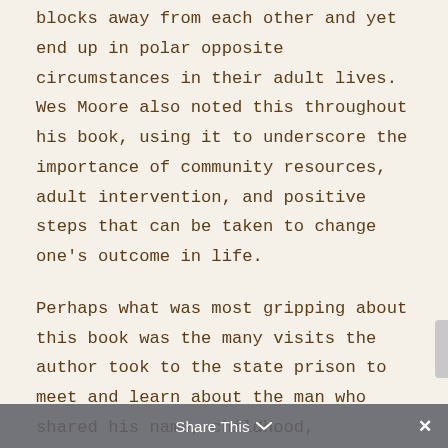blocks away from each other and yet end up in polar opposite circumstances in their adult lives. Wes Moore also noted this throughout his book, using it to underscore the importance of community resources, adult intervention, and positive steps that can be taken to change one's outcome in life.
Perhaps what was most gripping about this book was the many visits the author took to the state prison to meet and learn about the man who shared his name, childhood, experiences, and yet found himself on the other side of the glass across from his condemned counterpart. How was it that these men could be on opposite sides of the class, opposite sides of society, and yet find more